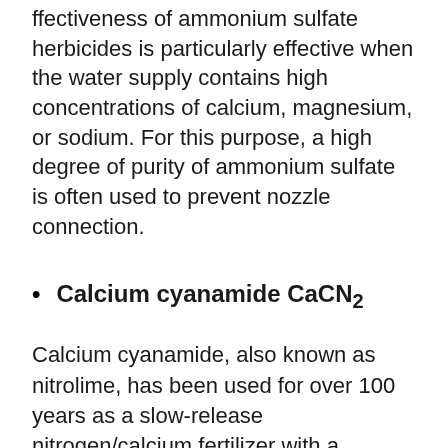effectiveness of ammonium sulfate herbicides is particularly effective when the water supply contains high concentrations of calcium, magnesium, or sodium. For this purpose, a high degree of purity of ammonium sulfate is often used to prevent nozzle connection.
Calcium cyanamide CaCN₂
Calcium cyanamide, also known as nitrolime, has been used for over 100 years as a slow-release nitrogen/calcium fertilizer with a calming effect. It is now often used to avoid performance and quality loss at increasingly narrow speeds.
The herbicidal effect of calcium cyanamide